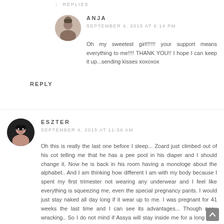↓ REPLIES
[Figure (photo): Small circular avatar photo of Anja, showing a person with light hair]
ANJA
SEPTEMBER 4, 2015 AT 6:14 PM
Oh my sweetest girl!!!!!! your support means everything to me!!!! THANK YOU!! I hope I can keep it up...sending kisses xoxoxox
REPLY
[Figure (photo): Small circular avatar photo of Eszter, showing a person with dark hair]
ESZTER
SEPTEMBER 4, 2015 AT 11:59 AM
Oh this is really the last one before I sleep... Zoard just climbed out of his cot telling me that he has a pee pool in his diaper and I should change it. Now he is back in his room having a monologe about the alphabet.. And I am thinking how different I am with my body because I spent my first trimester not wearing any underwear and I feel like everything is squeezing me, even the special pregnancy pants. I would just stay naked all day long if it wear up to me. I was pregnant for 41 weeks the last time and I can see its advantages... Though nerw wracking.. So I do not mind if Assya will stay inside me for a long time like her brother. Nevertheless, I am huge already at 26 weeks and people seem to be amused that I am only six months pregnant... I keep hearing myself make excuses : 'well